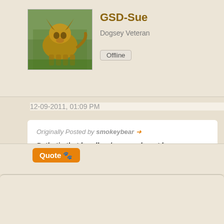GSD-Sue
Dogsey Veteran
Offline
12-09-2011, 01:09 PM
Originally Posted by smokeybear →
Pathetic that handlers/owners do not have sufficient control over the enclosed arena!
Totally agree When I was younger & showing at this sort of level mine using the command close. Mind you with most of them I had to hide or since I was fit enough to show my own
Quote